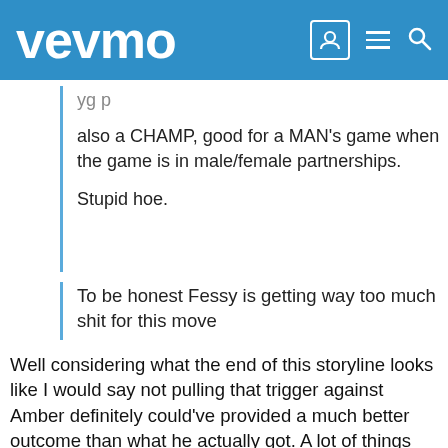vevmo
also a CHAMP, good for a MAN's game when the game is in male/female partnerships.

Stupid hoe.
To be honest Fessy is getting way too much shit for this move
Well considering what the end of this storyline looks like I would say not pulling that trigger against Amber definitely could've provided a much better outcome than what he actually got. A lot of things could've been avoided but we'll see next week how much blindsiding Amber helped his game in the long run.